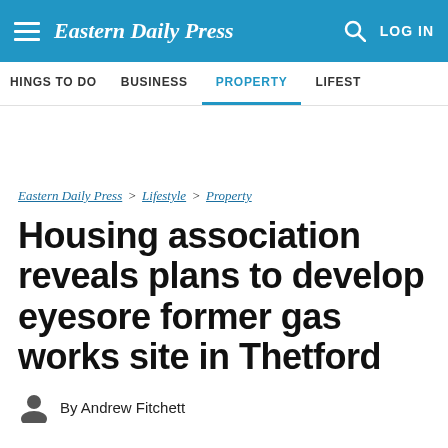Eastern Daily Press
HINGS TO DO  BUSINESS  PROPERTY  LIFEST
Eastern Daily Press > Lifestyle > Property
Housing association reveals plans to develop eyesore former gas works site in Thetford
By Andrew Fitchett